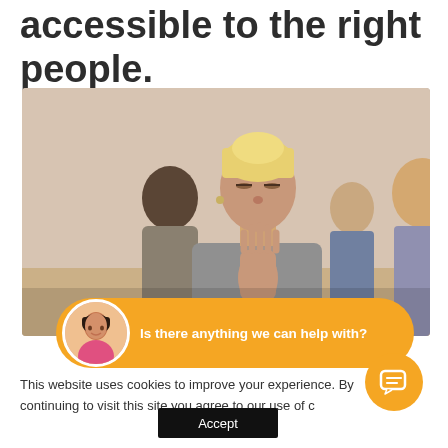accessible to the right people.
[Figure (photo): Group of people sitting and meditating with eyes closed, hands pressed together in prayer position. A woman with short blonde hair in a grey hoodie is in the foreground, with others visible behind her in a bright room.]
[Figure (infographic): Orange chat bubble with avatar of a woman and text: Is there anything we can help with?]
This website uses cookies to improve your experience. By continuing to visit this site you agree to our use of c
[Figure (other): Black Accept button]
[Figure (other): Orange circular chat button with message icon]